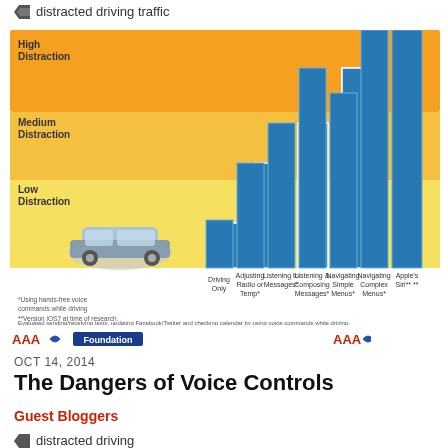distracted driving traffic
[Figure (bar-chart): Distraction levels by activity]
*Using hands-free voice commands while driving
**Version iOS7 at time of research.
Evaluated sending/receiving texts, updating Facebook/Twitter and checking calendar by using voice commands while driving.
OCT 14, 2014
The Dangers of Voice Controls
Guest Bloggers
There's a big difference between "looking" and actually "seeing." Car Talk talks to leading driver cognition researchers about the perils of voice control, and "inattention blindness."
distracted driving